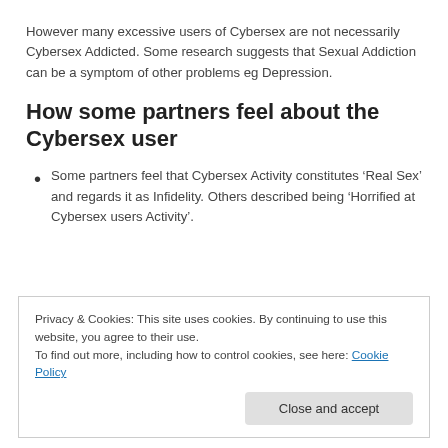However many excessive users of Cybersex are not necessarily Cybersex Addicted. Some research suggests that Sexual Addiction can be a symptom of other problems eg Depression.
How some partners feel about the Cybersex user
Some partners feel that Cybersex Activity constitutes ‘Real Sex’ and regards it as Infidelity. Others described being ‘Horrified at Cybersex users Activity’.
Privacy & Cookies: This site uses cookies. By continuing to use this website, you agree to their use.
To find out more, including how to control cookies, see here: Cookie Policy